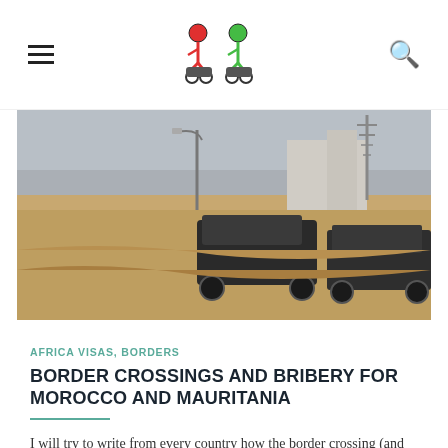≡ [logo: two bikers] 🔍
[Figure (photo): A dusty border crossing area with cars and vehicles on sandy ground, street lamps and a communications tower visible in the background under an overcast sky.]
AFRICA VISAS, BORDERS
BORDER CROSSINGS AND BRIBERY FOR MOROCCO AND MAURITANIA
I will try to write from every country how the border crossing (and bribe